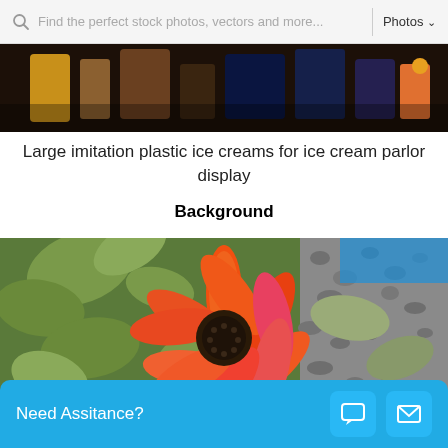[Figure (screenshot): Stock photo website search bar with search icon, placeholder text 'Find the perfect stock photos, vectors and more...', and a 'Photos' dropdown button on the right.]
[Figure (photo): Partial top view of an ice cream parlor display with colorful items on shelves, dark background.]
Large imitation plastic ice creams for ice cream parlor display
Background
[Figure (photo): Close-up photo of a vibrant orange and pink daisy-like flower (gazania or african daisy) surrounded by green leaves and gravel in the background.]
[Figure (screenshot): Blue assistance bar at the bottom with text 'Need Assitance?' and two white icon buttons (chat and email).]